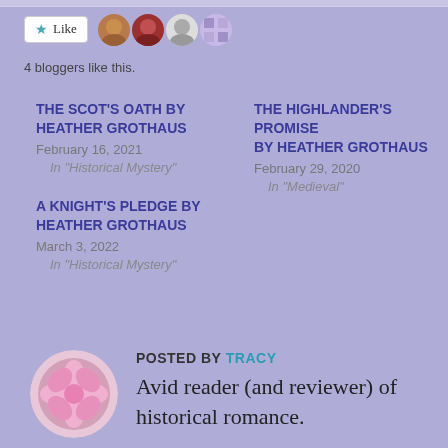Like  4 bloggers like this.
THE SCOT'S OATH BY HEATHER GROTHAUS
February 16, 2021
In "Historical Mystery"
THE HIGHLANDER'S PROMISE BY HEATHER GROTHAUS
February 29, 2020
In "Medieval"
A KNIGHT'S PLEDGE BY HEATHER GROTHAUS
March 3, 2022
In "Historical Mystery"
POSTED BY TRACY
Avid reader (and reviewer) of historical romance.